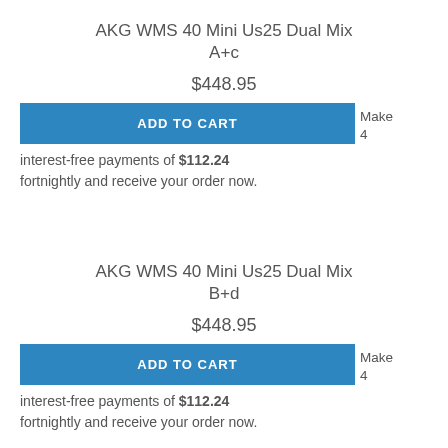AKG WMS 40 Mini Us25 Dual Mix A+c
$448.95
ADD TO CART
Make 4 interest-free payments of $112.24 fortnightly and receive your order now.
AKG WMS 40 Mini Us25 Dual Mix B+d
$448.95
ADD TO CART
Make 4 interest-free payments of $112.24 fortnightly and receive your order now.